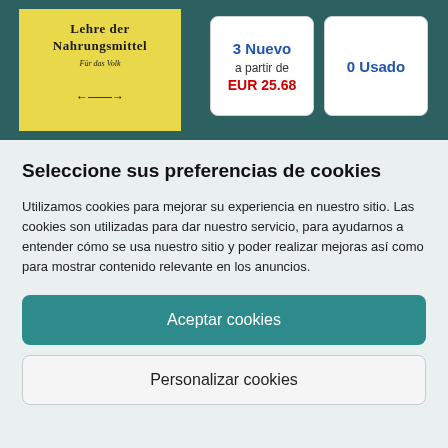[Figure (illustration): Book cover for 'Lehre der Nahrungsmittel – Für das Volk', yellow cover with dark teal border and decorative arrow, set against a dark teal background]
3 Nuevo
a partir de
EUR 25.68
0 Usado
Seleccione sus preferencias de cookies
Utilizamos cookies para mejorar su experiencia en nuestro sitio. Las cookies son utilizadas para dar nuestro servicio, para ayudarnos a entender cómo se usa nuestro sitio y poder realizar mejoras así como para mostrar contenido relevante en los anuncios.
Aceptar cookies
Personalizar cookies